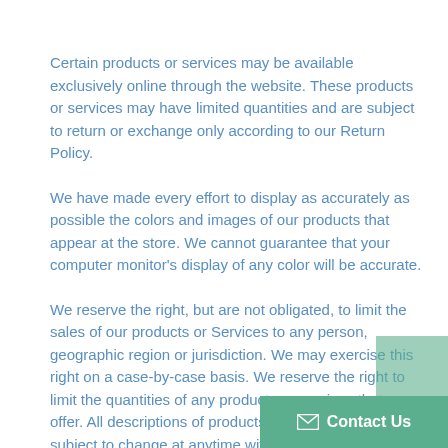Certain products or services may be available exclusively online through the website. These products or services may have limited quantities and are subject to return or exchange only according to our Return Policy.
We have made every effort to display as accurately as possible the colors and images of our products that appear at the store. We cannot guarantee that your computer monitor's display of any color will be accurate.
We reserve the right, but are not obligated, to limit the sales of our products or Services to any person, geographic region or jurisdiction. We may exercise this right on a case-by-case basis. We reserve the right to limit the quantities of any products or services that we offer. All descriptions of products or product pricing are subject to change at anytime without notice, at the sole discretion of us. We reserve the right to discontinue any product at any time. Any offer for any product or service made on this site is voi